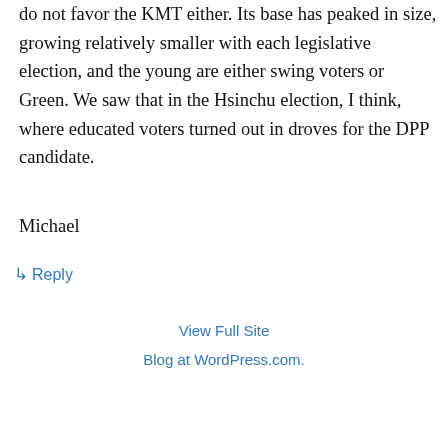do not favor the KMT either. Its base has peaked in size, growing relatively smaller with each legislative election, and the young are either swing voters or Green. We saw that in the Hsinchu election, I think, where educated voters turned out in droves for the DPP candidate.
Michael
↳ Reply
View Full Site
Blog at WordPress.com.